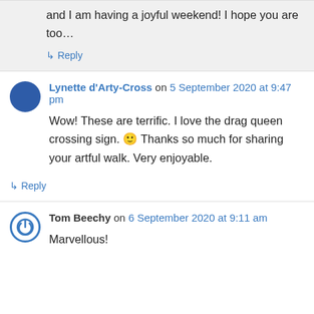and I am having a joyful weekend! I hope you are too...
↳ Reply
Lynette d'Arty-Cross on 5 September 2020 at 9:47 pm
Wow! These are terrific. I love the drag queen crossing sign. 🙂 Thanks so much for sharing your artful walk. Very enjoyable.
↳ Reply
Tom Beechy on 6 September 2020 at 9:11 am
Marvellous!